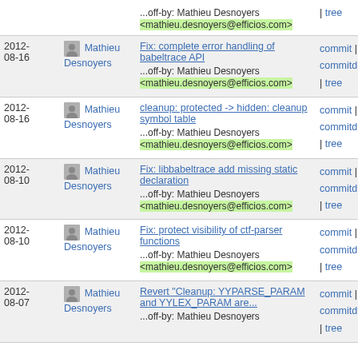| Date | Author | Commit message | Links |
| --- | --- | --- | --- |
|  | Mathieu Desnoyers | ...off-by: Mathieu Desnoyers <mathieu.desnoyers@efficios.com> | | tree |
| 2012-08-16 | Mathieu Desnoyers | Fix: complete error handling of babeltrace API
...off-by: Mathieu Desnoyers <mathieu.desnoyers@efficios.com> | commit | commitdiff | tree |
| 2012-08-16 | Mathieu Desnoyers | cleanup: protected -> hidden: cleanup symbol table
...off-by: Mathieu Desnoyers <mathieu.desnoyers@efficios.com> | commit | commitdiff | tree |
| 2012-08-10 | Mathieu Desnoyers | Fix: libbabeltrace add missing static declaration
...off-by: Mathieu Desnoyers <mathieu.desnoyers@efficios.com> | commit | commitdiff | tree |
| 2012-08-10 | Mathieu Desnoyers | Fix: protect visibility of ctf-parser functions
...off-by: Mathieu Desnoyers <mathieu.desnoyers@efficios.com> | commit | commitdiff | tree |
| 2012-08-07 | Mathieu Desnoyers | Revert "Cleanup: YYPARSE_PARAM and YYLEX_PARAM are...
...off-by: Mathieu Desnoyers | commit | commitdiff | tree |